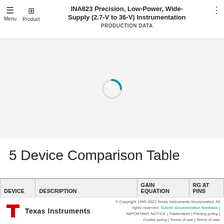INA823 Precision, Low-Power, Wide-Supply (2.7-V to 36-V) Instrumentation | PRODUCTION DATA
[Figure (other): Loading spinner (circular progress indicator)]
5 Device Comparison Table
| DEVICE | DESCRIPTION | GAIN EQUATION | RG AT PINS |
| --- | --- | --- | --- |
| INA849 | 1-nV/√Hz Noise, 35-µV Offset, 0.4 µV/°C VOS Drift, 28-MHz Bandwidth, Precision Instrumentation Amplifier | G = 1 + 6 kΩ / RG | 2, 3 |
© Copyright 1995-2022 Texas Instruments Incorporated. All rights reserved. Submit documentation feedback | IMPORTANT NOTICE | Trademarks | Privacy policy | Cookie policy | Terms of use | Terms of sale